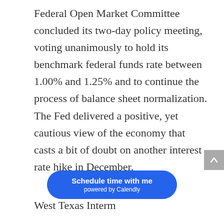Federal Open Market Committee concluded its two-day policy meeting, voting unanimously to hold its benchmark federal funds rate between 1.00% and 1.25% and to continue the process of balance sheet normalization. The Fed delivered a positive, yet cautious view of the economy that casts a bit of doubt on another interest rate hike in December.
West Texas Interm...